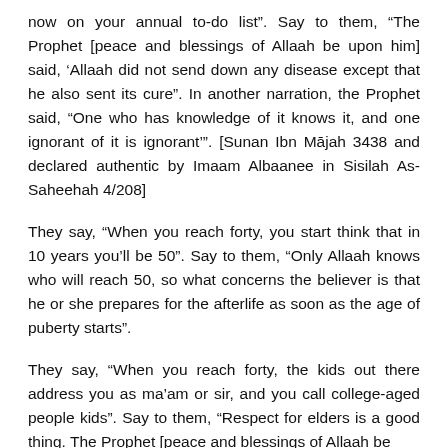now on your annual to-do list”. Say to them, “The Prophet [peace and blessings of Allaah be upon him] said, ‘Allaah did not send down any disease except that he also sent its cure”. In another narration, the Prophet said, “One who has knowledge of it knows it, and one ignorant of it is ignorant’”. [Sunan Ibn Mājah 3438 and declared authentic by Imaam Albaanee in Sisilah As-Saheehah 4/208]
They say, “When you reach forty, you start think that in 10 years you’ll be 50”. Say to them, “Only Allaah knows who will reach 50, so what concerns the believer is that he or she prepares for the afterlife as soon as the age of puberty starts”.
They say, “When you reach forty, the kids out there address you as ma’am or sir, and you call college-aged people kids”. Say to them, “Respect for elders is a good thing. The Prophet [peace and blessings of Allaah be